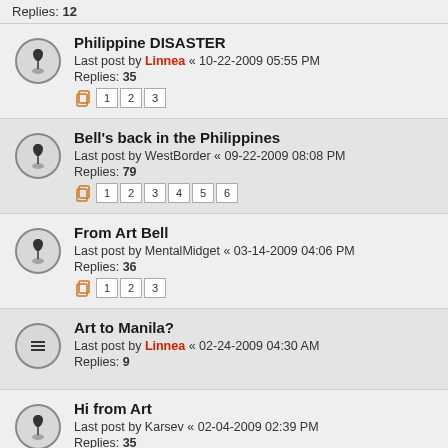Replies: 12
Philippine DISASTER
Last post by Linnea « 10-22-2009 05:55 PM
Replies: 35
Pages: 1 2 3
Bell's back in the Philippines
Last post by WestBorder « 09-22-2009 08:08 PM
Replies: 79
Pages: 1 2 3 4 5 6
From Art Bell
Last post by MentalMidget « 03-14-2009 04:06 PM
Replies: 36
Pages: 1 2 3
Art to Manila?
Last post by Linnea « 02-24-2009 04:30 AM
Replies: 9
Hi from Art
Last post by Karsev « 02-04-2009 02:39 PM
Replies: 35